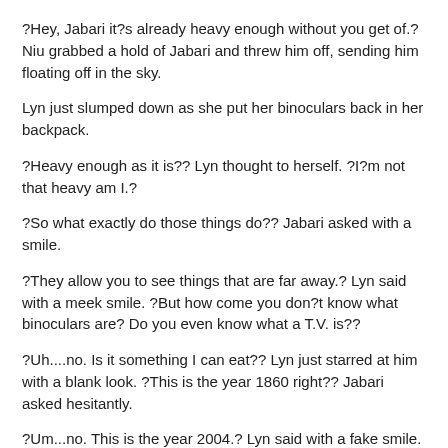?Hey, Jabari it?s already heavy enough without you get of.? Niu grabbed a hold of Jabari and threw him off, sending him floating off in the sky.
Lyn just slumped down as she put her binoculars back in her backpack.
?Heavy enough as it is?? Lyn thought to herself. ?I?m not that heavy am I.?
?So what exactly do those things do?? Jabari asked with a smile.
?They allow you to see things that are far away.? Lyn said with a meek smile. ?But how come you don?t know what binoculars are? Do you even know what a T.V. is??
?Uh....no. Is it something I can eat?? Lyn just starred at him with a blank look. ?This is the year 1860 right?? Jabari asked hesitantly.
?Um...no. This is the year 2004.? Lyn said with a fake smile.